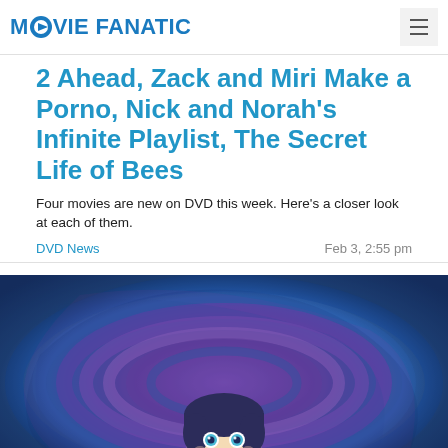MOVIE FANATIC
2 Ahead, Zack and Miri Make a Porno, Nick and Norah's Infinite Playlist, The Secret Life of Bees
Four movies are new on DVD this week. Here's a closer look at each of them.
DVD News   Feb 3, 2:55 pm
[Figure (photo): Animated character from Coraline - a doll-like girl with button eyes surrounded by swirling blue and purple colors forming a tunnel]